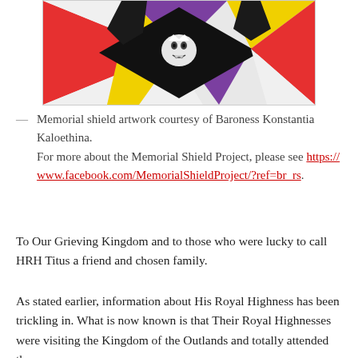[Figure (illustration): Memorial shield artwork — a heraldic shield with black, purple, yellow, red, and white sections, featuring a white wolf head in the center, with black ribbon/bow at the top]
— Memorial shield artwork courtesy of Baroness Konstantia Kaloethina.
For more about the Memorial Shield Project, please see https://www.facebook.com/MemorialShieldProject/?ref=br_rs.
To Our Grieving Kingdom and to those who were lucky to call HRH Titus a friend and chosen family.
As stated earlier, information about His Royal Highness has been trickling in. What is now known is that Their Royal Highnesses were visiting the Kingdom of the Outlands and totally attended...